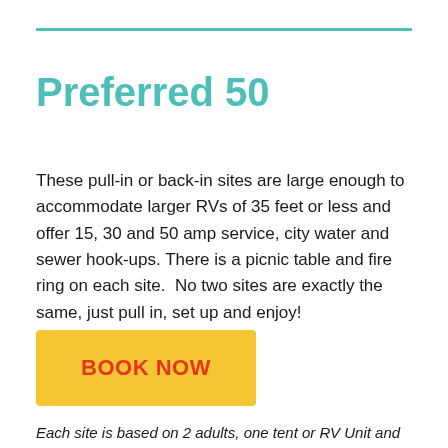Preferred 50
These pull-in or back-in sites are large enough to accommodate larger RVs of 35 feet or less and offer 15, 30 and 50 amp service, city water and sewer hook-ups. There is a picnic table and fire ring on each site.  No two sites are exactly the same, just pull in, set up and enjoy!
BOOK NOW
Each site is based on 2 adults, one tent or RV Unit and